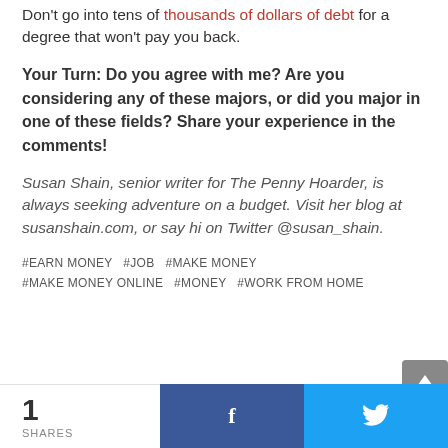Don't go into tens of thousands of dollars of debt for a degree that won't pay you back.
Your Turn: Do you agree with me? Are you considering any of these majors, or did you major in one of these fields? Share your experience in the comments!
Susan Shain, senior writer for The Penny Hoarder, is always seeking adventure on a budget. Visit her blog at susanshain.com, or say hi on Twitter @susan_shain.
#EARN MONEY  #JOB  #MAKE MONEY  #MAKE MONEY ONLINE  #MONEY  #WORK FROM HOME
1 SHARES